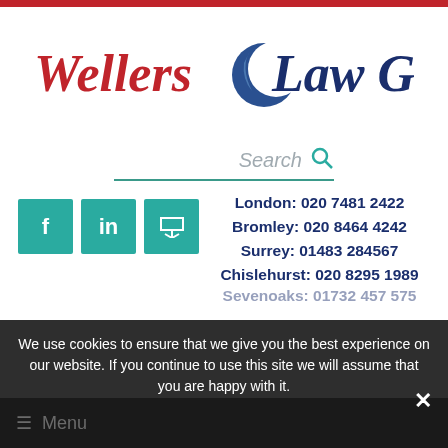[Figure (logo): Wellers Law Group LLP logo with red italic 'Wellers', a blue crescent moon icon, and dark blue 'Law Group LLP']
Search
[Figure (infographic): Social media icons: Facebook (f), LinkedIn (in), RSS feed - teal square buttons]
London: 020 7481 2422
Bromley: 020 8464 4242
Surrey: 01483 284567
Chislehurst: 020 8295 1989
Sevenoaks: 01732 457 575
We use cookies to ensure that we give you the best experience on our website. If you continue to use this site we will assume that you are happy with it.
OK